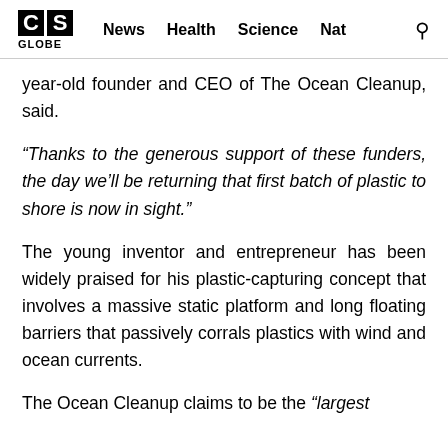CS GLOBE | News  Health  Science  Nat
year-old founder and CEO of The Ocean Cleanup, said.
“Thanks to the generous support of these funders, the day we’ll be returning that first batch of plastic to shore is now in sight.”
The young inventor and entrepreneur has been widely praised for his plastic-capturing concept that involves a massive static platform and long floating barriers that passively corrals plastics with wind and ocean currents.
The Ocean Cleanup claims to be the “largest